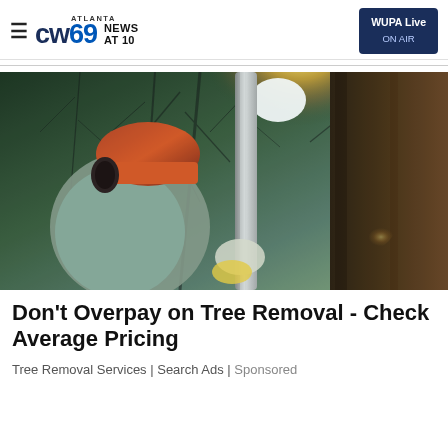Atlanta CW 69 News at 10 | WUPA Live ON AIR
[Figure (photo): A tree worker wearing an orange hard hat and ear protection, holding a long pole tool near a large tree trunk, with sunlight flare visible through the branches in the background.]
Don't Overpay on Tree Removal - Check Average Pricing
Tree Removal Services | Search Ads | Sponsored